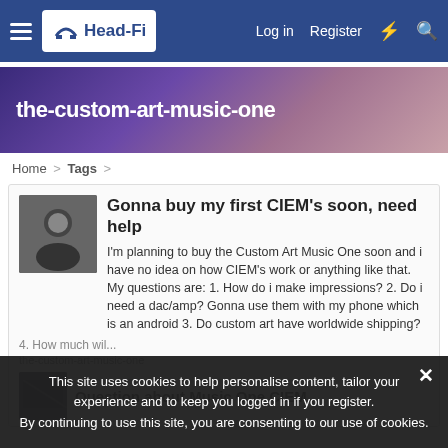Head-Fi — Log in  Register
[Figure (screenshot): Head-Fi banner with text: the-custom-art-music-one on a purple/pink gradient background]
Home > Tags >
Gonna buy my first CIEM's soon, need help

I'm planning to buy the Custom Art Music One soon and i have no idea on how CIEM's work or anything like that. My questions are: 1. How do i make impressions? 2. Do i need a dac/amp? Gonna use them with my phone which is an android 3. Do custom art have worldwide shipping? 4. How much wil...
the-custom-art-music-one
Question about Music One CIEM
This site uses cookies to help personalise content, tailor your experience and to keep you logged in if you register. By continuing to use this site, you are consenting to our use of cookies.